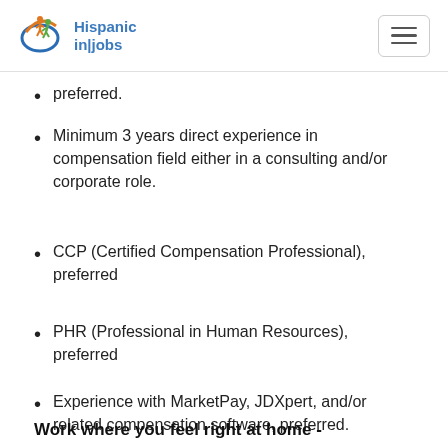Hispanic in|jobs
preferred.
Minimum 3 years direct experience in compensation field either in a consulting and/or corporate role.
CCP (Certified Compensation Professional), preferred
PHR (Professional in Human Resources), preferred
Experience with MarketPay, JDXpert, and/or related compensation software, preferred.
Work where you feel right at home -